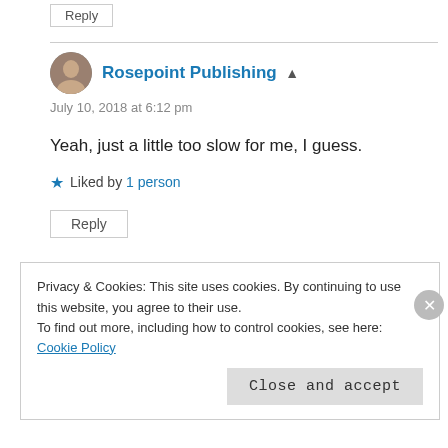Reply
Rosepoint Publishing
July 10, 2018 at 6:12 pm
Yeah, just a little too slow for me, I guess.
Liked by 1 person
Reply
Privacy & Cookies: This site uses cookies. By continuing to use this website, you agree to their use.
To find out more, including how to control cookies, see here: Cookie Policy
Close and accept